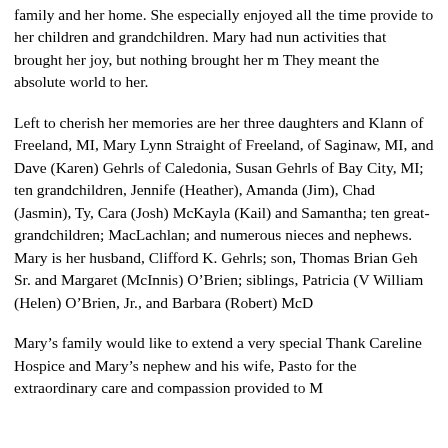family and her home. She especially enjoyed all the time provide to her children and grandchildren. Mary had nun activities that brought her joy, but nothing brought her m They meant the absolute world to her.
Left to cherish her memories are her three daughters and Klann of Freeland, MI, Mary Lynn Straight of Freeland, of Saginaw, MI, and Dave (Karen) Gehrls of Caledonia, Susan Gehrls of Bay City, MI; ten grandchildren, Jennife (Heather), Amanda (Jim), Chad (Jasmin), Ty, Cara (Josh McKayla (Kail) and Samantha; ten great-grandchildren; MacLachlan; and numerous nieces and nephews. Mary is her husband, Clifford K. Gehrls; son, Thomas Brian Geh Sr. and Margaret (McInnis) O’Brien; siblings, Patricia (V William (Helen) O’Brien, Jr., and Barbara (Robert) McD
Mary’s family would like to extend a very special Thank Careline Hospice and Mary’s nephew and his wife, Pasto for the extraordinary care and compassion provided to M